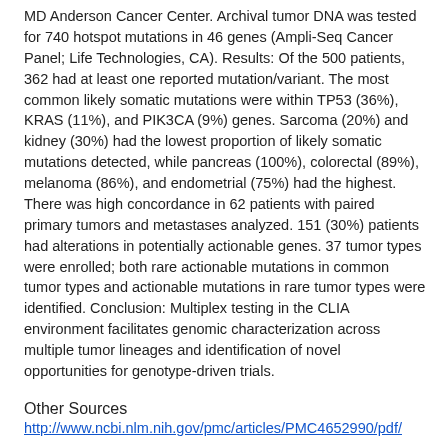MD Anderson Cancer Center. Archival tumor DNA was tested for 740 hotspot mutations in 46 genes (Ampli-Seq Cancer Panel; Life Technologies, CA). Results: Of the 500 patients, 362 had at least one reported mutation/variant. The most common likely somatic mutations were within TP53 (36%), KRAS (11%), and PIK3CA (9%) genes. Sarcoma (20%) and kidney (30%) had the lowest proportion of likely somatic mutations detected, while pancreas (100%), colorectal (89%), melanoma (86%), and endometrial (75%) had the highest. There was high concordance in 62 patients with paired primary tumors and metastases analyzed. 151 (30%) patients had alterations in potentially actionable genes. 37 tumor types were enrolled; both rare actionable mutations in common tumor types and actionable mutations in rare tumor types were identified. Conclusion: Multiplex testing in the CLIA environment facilitates genomic characterization across multiple tumor lineages and identification of novel opportunities for genotype-driven trials.
Other Sources
http://www.ncbi.nlm.nih.gov/pmc/articles/PMC4652990/pdf/
Terms of Use
This article is made available under the terms and conditions applicable to Other Posted Material, as set forth at http://nrs.harvard.edu/urn-3:HUL.InstRepos:dash.current.terms-of-